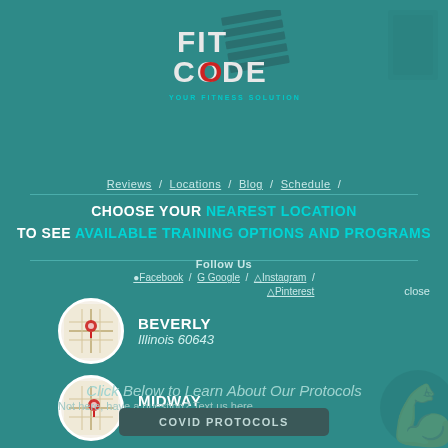[Figure (logo): FIT CODE - YOUR FITNESS SOLUTION logo with stylized text and fitness silhouette graphic]
Reviews / Locations / Blog / Schedule /
CHOOSE YOUR NEAREST LOCATION TO SEE AVAILABLE TRAINING OPTIONS AND PROGRAMS
Follow Us
Facebook / Google / Instagram / Pinterest
close
[Figure (map): Circular map thumbnail showing Beverly Illinois location]
BEVERLY
Illinois 60643
[Figure (map): Circular map thumbnail showing Midway Illinois location]
MIDWAY
Illinois 60638
Not here, have a question? Text us here.
Click Below to Learn About Our Protocols
COVID PROTOCOLS